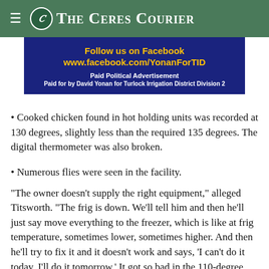The Ceres Courier
[Figure (other): Political advertisement banner with dark blue background. Text reads: Follow us on Facebook www.facebook.com/YonanForTID. Paid Political Advertisement. Paid for by David Yonan for Turlock Irrigation District Division 2]
Cooked chicken found in hot holding units was recorded at 130 degrees, slightly less than the required 135 degrees. The digital thermometer was also broken.
Numerous flies were seen in the facility.
"The owner doesn't supply the right equipment," alleged Titsworth. "The frig is down. We'll tell him and then he'll just say move everything to the freezer, which is like at frig temperature, sometimes lower, sometimes higher. And then he'll try to fix it and it doesn't work and says, 'I can't do it today. I'll do it tomorrow.' It got so bad in the 110-degree weather where the frig was shut